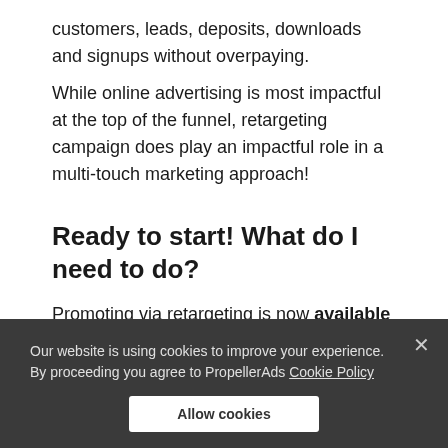customers, leads, deposits, downloads and signups without overpaying.
While online advertising is most impactful at the top of the funnel, retargeting campaign does play an impactful role in a multi-touch marketing approach!
Ready to start! What do I need to do?
Promoting via retargeting is now available for all
Our website is using cookies to improve your experience. By proceeding you agree to PropellerAds Cookie Policy